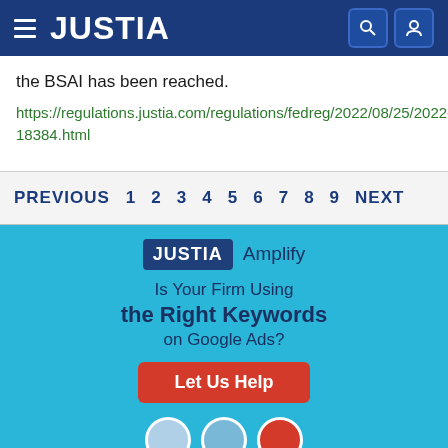JUSTIA
the BSAI has been reached.
https://regulations.justia.com/regulations/fedreg/2022/08/25/2022-18384.html
PREVIOUS 1 2 3 4 5 6 7 8 9 NEXT
[Figure (infographic): Justia Amplify advertisement banner with text 'Is Your Firm Using the Right Keywords on Google Ads?' and a red 'Let Us Help' button on a light blue background.]